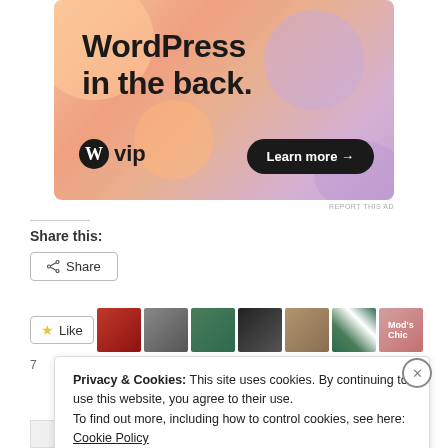[Figure (illustration): WordPress VIP advertisement banner with orange/pink/purple gradient background, large bold text 'WordPress in the back.', WordPress VIP logo with circle W icon, and 'Learn more →' button in dark pill shape.]
REPORT THIS AD
Share this:
< Share
[Figure (screenshot): Like button with star icon and Like text, followed by a row of 7 user avatar thumbnails in various colors.]
Privacy & Cookies: This site uses cookies. By continuing to use this website, you agree to their use.
To find out more, including how to control cookies, see here: Cookie Policy
Close and accept
Now Today's Top Deals: